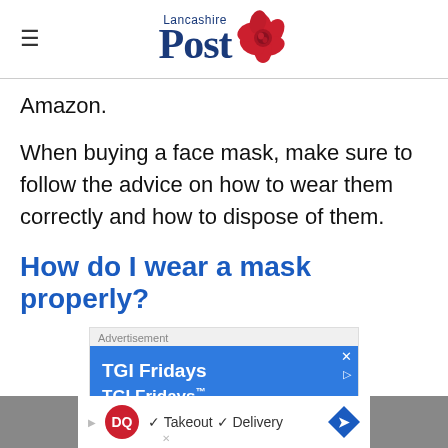Lancashire Post
Amazon.
When buying a face mask, make sure to follow the advice on how to wear them correctly and how to dispose of them.
How do I wear a mask properly?
[Figure (other): Advertisement banner for TGI Fridays showing blue background with brand name and TG I Fridays trademark text]
[Figure (other): Bottom advertisement bar for Dairy Queen showing DQ logo, checkmarks for Takeout and Delivery, and a blue diamond arrow button]